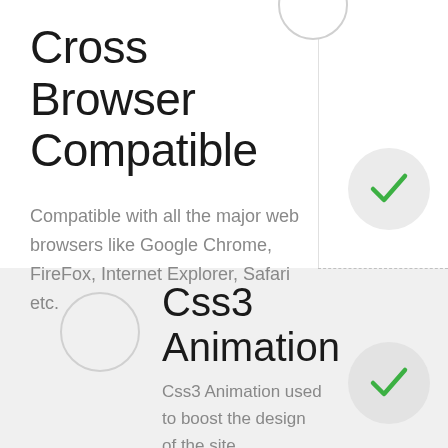Cross Browser Compatible
Compatible with all the major web browsers like Google Chrome, FireFox, Internet Explorer, Safari etc.
Css3 Animation
Css3 Animation used to boost the design of the site